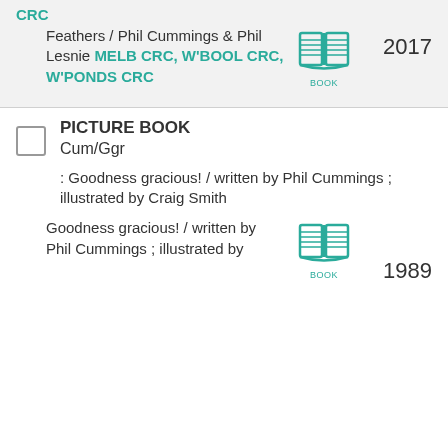CRC
Feathers / Phil Cummings & Phil Lesnie MELB CRC, W'BOOL CRC, W'PONDS CRC
[Figure (illustration): Book icon with teal outline and lines representing pages, labeled BOOK underneath]
2017
PICTURE BOOK Cum/Ggr
: Goodness gracious! / written by Phil Cummings ; illustrated by Craig Smith
Goodness gracious! / written by Phil Cummings ; illustrated by
[Figure (illustration): Book icon with teal outline and lines representing pages, labeled BOOK underneath]
1989